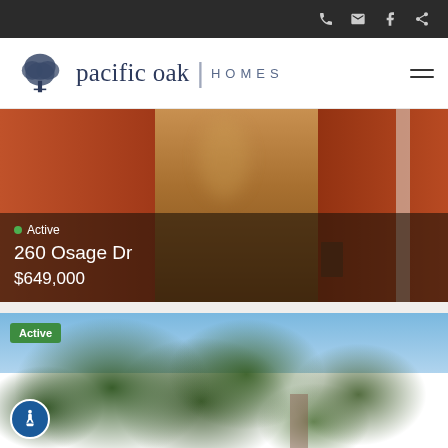Top navigation bar with phone, email, Facebook, and share icons
[Figure (logo): Pacific Oak Homes logo with oak tree icon]
[Figure (photo): Interior hallway photo with orange walls and hardwood floor. Active listing at 260 Osage Dr, $649,000]
Active
260 Osage Dr
$649,000
[Figure (photo): Exterior photo looking up through green leafy tree canopy against blue sky. Active listing badge shown.]